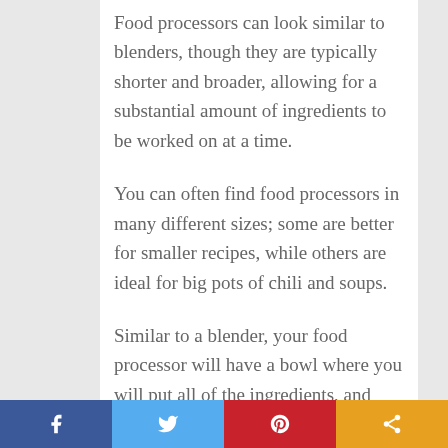Food processors can look similar to blenders, though they are typically shorter and broader, allowing for a substantial amount of ingredients to be worked on at a time.
You can often find food processors in many different sizes; some are better for smaller recipes, while others are ideal for big pots of chili and soups.
Similar to a blender, your food processor will have a bowl where you will put all of the ingredients, and within